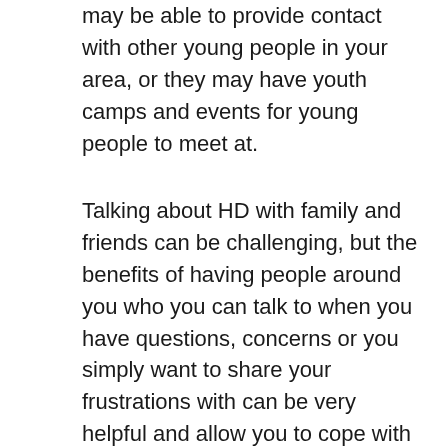may be able to provide contact with other young people in your area, or they may have youth camps and events for young people to meet at.
Talking about HD with family and friends can be challenging, but the benefits of having people around you who you can talk to when you have questions, concerns or you simply want to share your frustrations with can be very helpful and allow you to cope with what's going on in your life. It's important to note that sometimes we (young people) are just not ready to talk about HD and that is fine, but